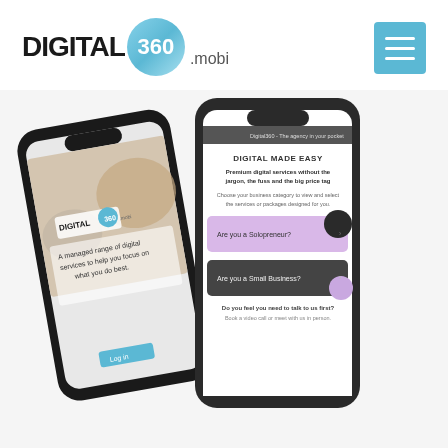[Figure (logo): Digital360.mobi logo with circular badge containing '360' text and hamburger menu button in cyan/blue]
[Figure (screenshot): Two smartphone mockups showing the Digital360.mobi app. Left phone shows the homepage with logo and text 'A managed range of digital services to help you focus on what you do best.' with Log in button. Right phone shows 'DIGITAL MADE EASY' screen with 'Premium digital services without the jargon, the fuss and the big price tag', business category selection options including 'Are you a Solopreneur?' and 'Are you a Small Business?', and 'Do you feel you need to talk to us first? Book a video call or meet with us in person.']